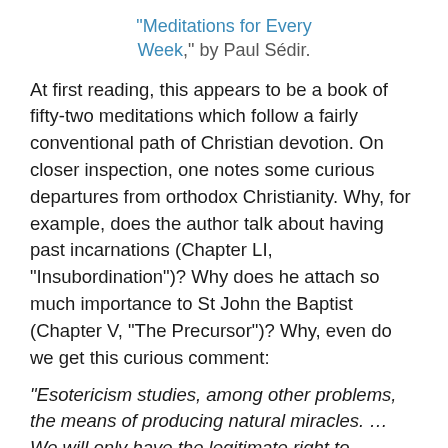“Meditations for Every Week,” by Paul Sédir.
At first reading, this appears to be a book of fifty-two meditations which follow a fairly conventional path of Christian devotion. On closer inspection, one notes some curious departures from orthodox Christianity. Why, for example, does the author talk about having past incarnations (Chapter LI, “Insubordination”)? Why does he attach so much importance to St John the Baptist (Chapter V, “The Precursor”)? Why, even do we get this curious comment:
“Esotericism studies, among other problems, the means of producing natural miracles. … We will only have the legitimate right to command Nature when she sees that we are masters of ourselves, when we have followed the